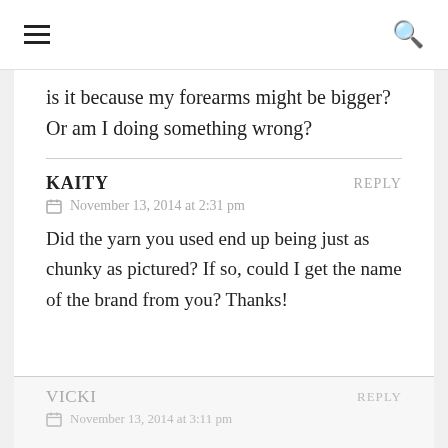☰  🔍
is it because my forearms might be bigger? Or am I doing something wrong?
KAITY  REPLY
November 13, 2014 at 2:31 pm
Did the yarn you used end up being just as chunky as pictured? If so, could I get the name of the brand from you? Thanks!
VICKI  REPLY